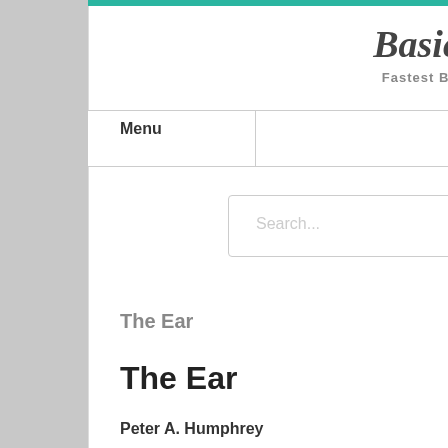Basicmedical Key — Fastest Basicmedical Insight Engine
Menu
The Ear
The Ear
Peter A. Humphrey